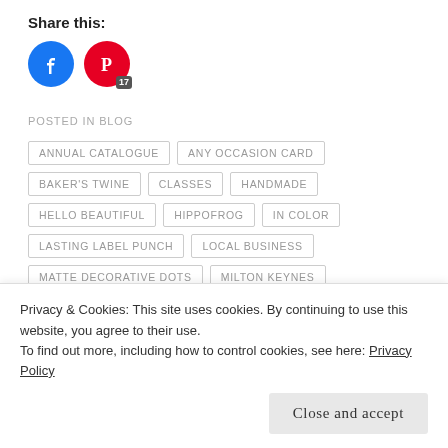Share this:
[Figure (illustration): Two social share buttons: Facebook (blue circle with f logo) and Pinterest (red circle with P logo and badge showing 17)]
POSTED IN BLOG
ANNUAL CATALOGUE
ANY OCCASION CARD
BAKER'S TWINE
CLASSES
HANDMADE
HELLO BEAUTIFUL
HIPPOFROG
IN COLOR
LASTING LABEL PUNCH
LOCAL BUSINESS
MATTE DECORATIVE DOTS
MILTON KEYNES
MINI CATALOGUE
PAPERCRAFTING
Privacy & Cookies: This site uses cookies. By continuing to use this website, you agree to their use. To find out more, including how to control cookies, see here: Privacy Policy
Close and accept